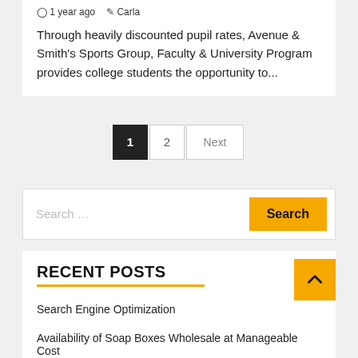1 year ago   Carla
Through heavily discounted pupil rates, Avenue & Smith's Sports Group, Faculty & University Program provides college students the opportunity to...
1  2  Next
Search ...  Search
RECENT POSTS
Search Engine Optimization
Availability of Soap Boxes Wholesale at Manageable Cost